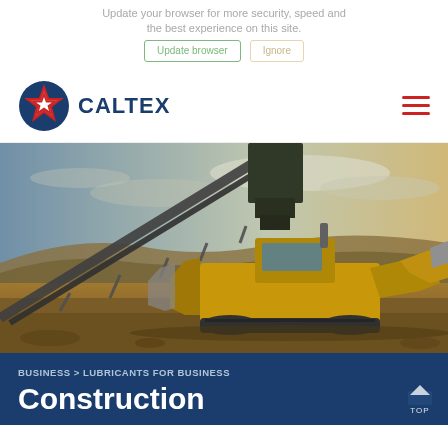Update your browser for more security, speed and the best experience on this site.
Update browser   Ignore
[Figure (logo): Caltex star logo in red, white and blue with CALTEX text in navy blue]
[Figure (photo): Yellow bulldozer/construction equipment at a mining or quarry site with conveyor belt and rocky terrain under cloudy sky]
BUSINESS > LUBRICANTS FOR BUSINESS
Construction